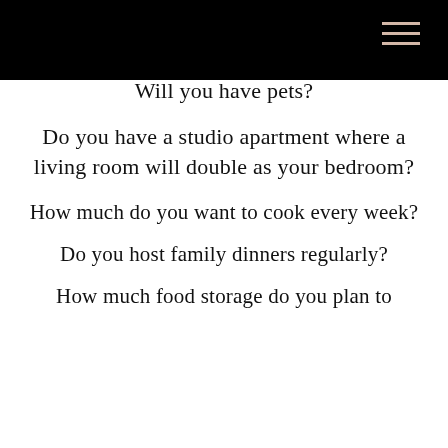Will you have pets?
Do you have a studio apartment where a living room will double as your bedroom?
How much do you want to cook every week?
Do you host family dinners regularly?
How much food storage do you plan to